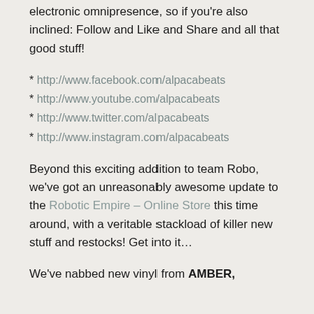electronic omnipresence, so if you're also inclined: Follow and Like and Share and all that good stuff!
* http://www.facebook.com/alpacabeats
* http://www.youtube.com/alpacabeats
* http://www.twitter.com/alpacabeats
* http://www.instagram.com/alpacabeats
Beyond this exciting addition to team Robo, we've got an unreasonably awesome update to the Robotic Empire – Online Store this time around, with a veritable stackload of killer new stuff and restocks! Get into it…
We've nabbed new vinyl from AMBER,